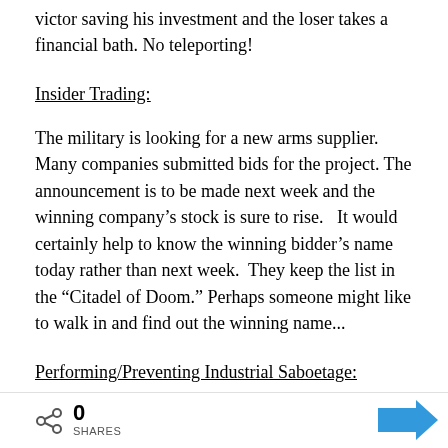victor saving his investment and the loser takes a financial bath. No teleporting!
Insider Trading:
The military is looking for a new arms supplier. Many companies submitted bids for the project. The announcement is to be made next week and the winning company’s stock is sure to rise.   It would certainly help to know the winning bidder’s name today rather than next week.  They keep the list in the “Citadel of Doom.” Perhaps someone might like to walk in and find out the winning name...
Performing/Preventing Industrial Saboetage:
A trader buys large quantities of a company’s stock, with the understanding that their main competitor
0 SHARES